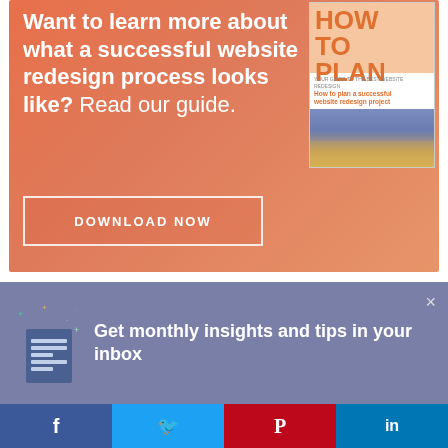[Figure (infographic): Orange gradient promotional banner with text about website redesign guide, a book cover mockup showing 'How to Plan a successful website redesign project', and a download now button]
You might also like:
[Figure (infographic): Purple/grey newsletter subscription popup bar with document icon with sparkles, text 'Get monthly insights and tips in your inbox', and a close X button]
[Figure (infographic): Social sharing bar at the bottom with Facebook, Twitter, Pinterest, and LinkedIn buttons]